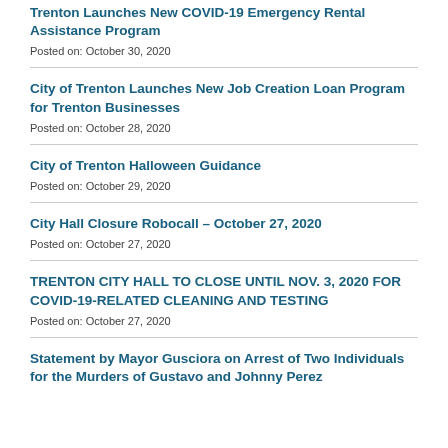Trenton Launches New COVID-19 Emergency Rental Assistance Program
Posted on: October 30, 2020
City of Trenton Launches New Job Creation Loan Program for Trenton Businesses
Posted on: October 28, 2020
City of Trenton Halloween Guidance
Posted on: October 29, 2020
City Hall Closure Robocall – October 27, 2020
Posted on: October 27, 2020
TRENTON CITY HALL TO CLOSE UNTIL NOV. 3, 2020 FOR COVID-19-RELATED CLEANING AND TESTING
Posted on: October 27, 2020
Statement by Mayor Gusciora on Arrest of Two Individuals for the Murders of Gustavo and Johnny Perez